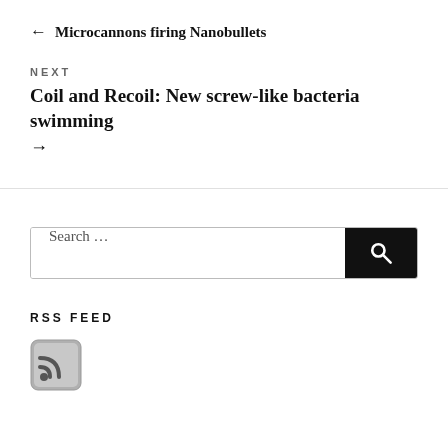← Microcannons firing Nanobullets
NEXT
Coil and Recoil: New screw-like bacteria swimming →
Search …
RSS FEED